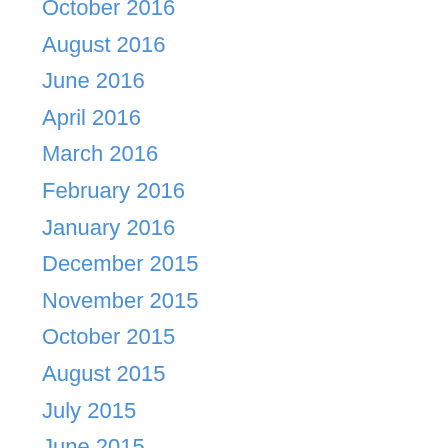October 2016
August 2016
June 2016
April 2016
March 2016
February 2016
January 2016
December 2015
November 2015
October 2015
August 2015
July 2015
June 2015
May 2015
April 2015
March 2015